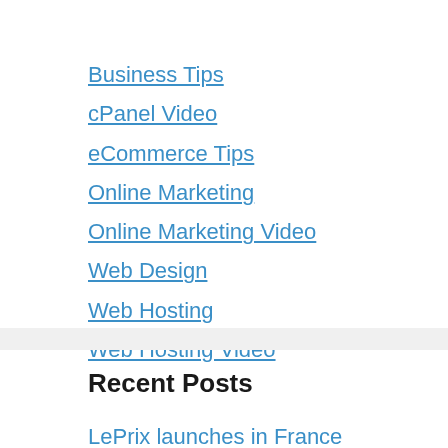Business Tips
cPanel Video
eCommerce Tips
Online Marketing
Online Marketing Video
Web Design
Web Hosting
Web Hosting Video
Recent Posts
LePrix launches in France